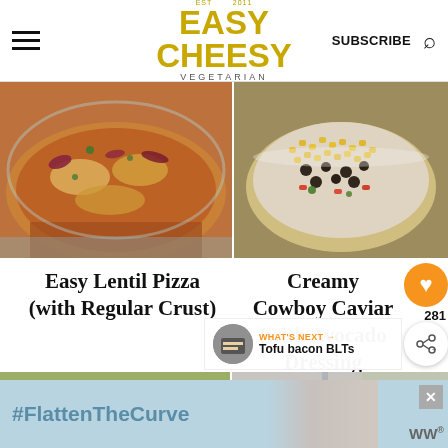Easy Cheesy Vegetarian | SUBSCRIBE
[Figure (photo): Close-up photo of a lentil pizza with toppings including red onion and fresh herbs on a light blue plate]
[Figure (photo): Bowl of creamy cowboy caviar with corn, black beans, mushrooms and colorful peppers]
Easy Lentil Pizza (with Regular Crust)
Creamy Cowboy Caviar (with Avocado Dressing
281
[Figure (photo): What's Next thumbnail - Tofu bacon BLTs]
WHAT'S NEXT → Tofu bacon BLTs
[Figure (photo): Bottom left food photo - partial view of dish with sauce]
[Figure (photo): Bottom right food photo - tomato slices and vegetables with running water]
[Figure (screenshot): Advertisement banner with #FlattenTheCurve hashtag and handwashing image]